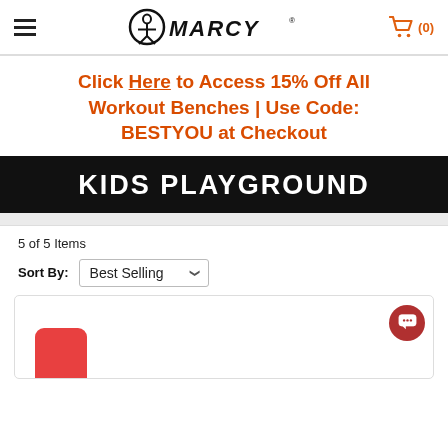≡ MARCY® (0)
Click Here to Access 15% Off All Workout Benches | Use Code: BESTYOU at Checkout
KIDS PLAYGROUND
5 of 5 Items
Sort By: Best Selling
[Figure (photo): Partial product card showing a red rounded product image at the bottom left, with a red chat button at the top right of the card.]